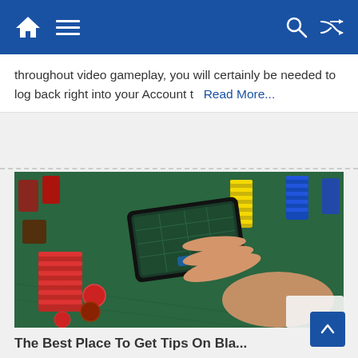Home | Menu | Search | Shuffle
throughout video gameplay, you will certainly be needed to log back right into your Account t  Read More…
[Figure (photo): Hands holding a smartphone displaying a roulette table app, surrounded by colorful casino chips on a green felt casino table]
The Best Place To Get Tips On Blackjack...